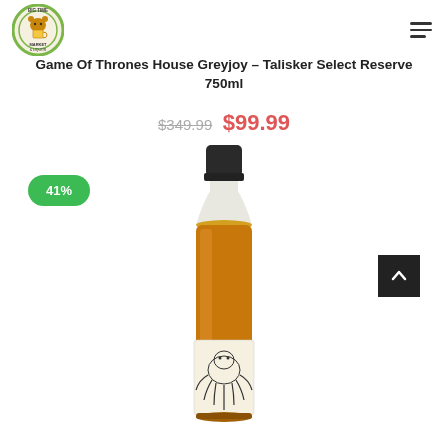[Figure (logo): Big Time Market & Liquor logo — circular badge with bear holding mug, orange and green colors]
Game Of Thrones House Greyjoy — Talisker Select Reserve 750ml
$349.99 $99.99
41%
[Figure (photo): Talisker Select Reserve whisky bottle — amber liquid visible, white label with illustrated creature, dark cap]